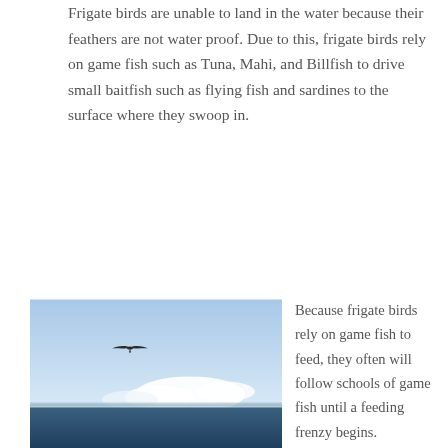Frigate birds are unable to land in the water because their feathers are not water proof. Due to this, frigate birds rely on game fish such as Tuna, Mahi, and Billfish to drive small baitfish such as flying fish and sardines to the surface where they swoop in.
[Figure (photo): A frigate bird soaring high in a blue sky with white clouds near the horizon, with dark blue ocean water below and a distant coastline.]
Because frigate birds rely on game fish to feed, they often will follow schools of game fish until a feeding frenzy begins. Understanding the feeding patterns and lifestyle of a frigate bird is very important as it will allow you to read the birds you find in the open ocean.